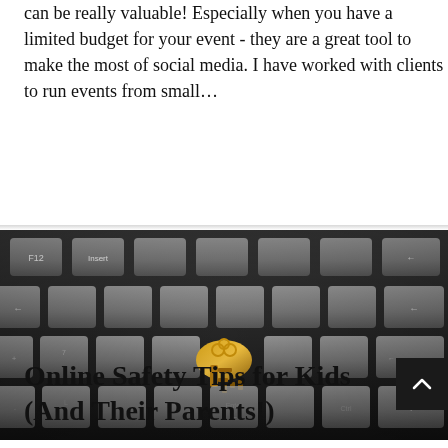can be really valuable! Especially when you have a limited budget for your event - they are a great tool to make the most of social media. I have worked with clients to run events from small…
Read More >>
[Figure (photo): Close-up photograph of a black keyboard with gray keys, with a golden ornate skeleton key resting on the keys near the Enter key.]
Online Safety Tips for Kids (And Their Parents!)